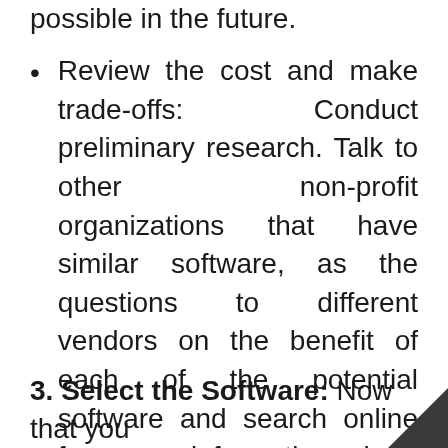possible in the future.
Review the cost and make trade-offs: Conduct preliminary research. Talk to other non-profit organizations that have similar software, as the questions to different vendors on the benefit of each of the potential software and search online for more information about the various software.
3. Select the Software: Now that you